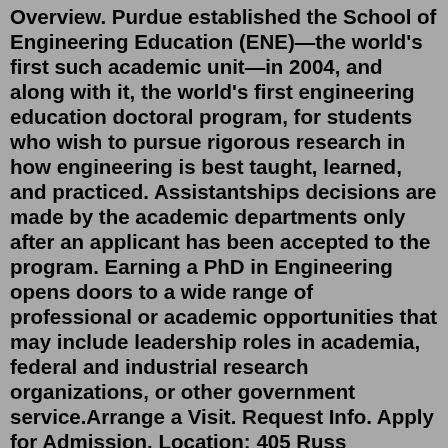Overview. Purdue established the School of Engineering Education (ENE)—the world's first such academic unit—in 2004, and along with it, the world's first engineering education doctoral program, for students who wish to pursue rigorous research in how engineering is best taught, learned, and practiced. Assistantships decisions are made by the academic departments only after an applicant has been accepted to the program. Earning a PhD in Engineering opens doors to a wide range of professional or academic opportunities that may include leadership roles in academia, federal and industrial research organizations, or other government service.Arrange a Visit. Request Info. Apply for Admission. Location: 405 Russ Engineering Center. Phone: 937-775-5001. 937-775-5009. cecs-dean@wright.edu.A PhD in chemical engineering will allow you to contribute more deeply to the impact of engineering on society. You will push the frontiers of science and help develop the technologies that will